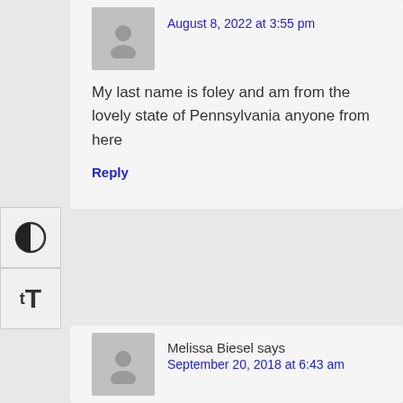August 8, 2022 at 3:55 pm
My last name is foley and am from the lovely state of Pennsylvania anyone from here
Reply
Melissa Biesel says
September 20, 2018 at 6:43 am
Looking to see if anyone has info on some of